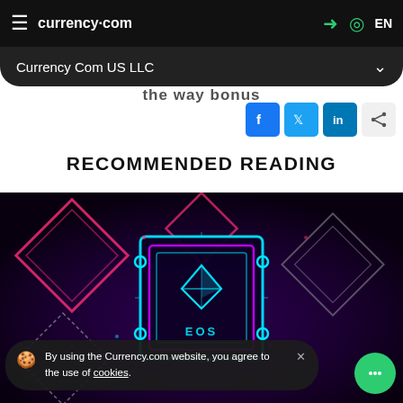currency.com  EN
Currency Com US LLC
[Figure (screenshot): Social share buttons: Facebook, Twitter, LinkedIn, and a generic share icon]
RECOMMENDED READING
[Figure (photo): EOS cryptocurrency neon circuit board illustration with glowing cyan and pink neon lights, showing the EOS logo on a chip in the center]
By using the Currency.com website, you agree to the use of cookies.